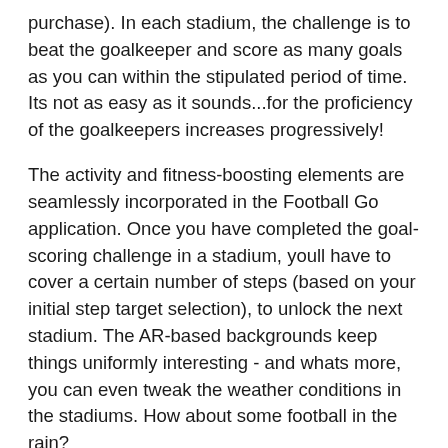purchase). In each stadium, the challenge is to beat the goalkeeper and score as many goals as you can within the stipulated period of time. Its not as easy as it sounds...for the proficiency of the goalkeepers increases progressively!
The activity and fitness-boosting elements are seamlessly incorporated in the Football Go application. Once you have completed the goal-scoring challenge in a stadium, youll have to cover a certain number of steps (based on your initial step target selection), to unlock the next stadium. The AR-based backgrounds keep things uniformly interesting - and whats more, you can even tweak the weather conditions in the stadiums. How about some football in the rain?
Football Go also offers exciting in-app purchase options. By paying a nominal amount, you can unlock 3 more stadiums, Super boots (for those curved shots), the unstoppable Fire Ball, and Energy Fruit/Energy Water (to get some extra